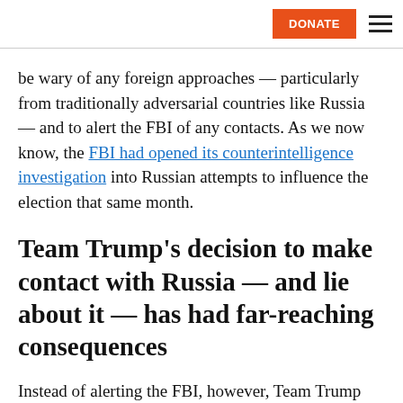DONATE
be wary of any foreign approaches — particularly from traditionally adversarial countries like Russia — and to alert the FBI of any contacts. As we now know, the FBI had opened its counterintelligence investigation into Russian attempts to influence the election that same month.
Team Trump's decision to make contact with Russia — and lie about it — has had far-reaching consequences
Instead of alerting the FBI, however, Team Trump